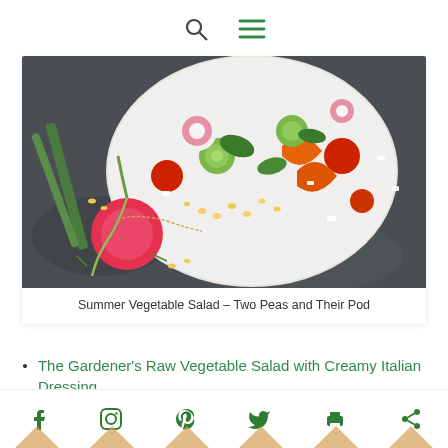[search icon] [menu icon]
[Figure (photo): A white bowl filled with colorful summer vegetable salad including tomatoes, radishes, cucumbers, corn, feta cheese, peppers and herbs on a dark stone surface. A single radish with string tied around it sits beside the bowl.]
Summer Vegetable Salad – Two Peas and Their Pod
The Gardener's Raw Vegetable Salad with Creamy Italian Dressing
Tomato Chickpea Salad
Summer sa...
[facebook] [instagram] [pinterest] [twitter] [print] [share]